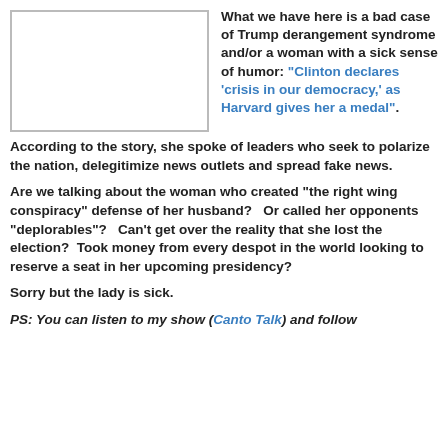[Figure (other): A rectangular image placeholder with a border on the left side of the top section]
What we have here is a bad case of Trump derangement syndrome and/or a woman with a sick sense of humor: "Clinton declares 'crisis in our democracy,' as Harvard gives her a medal".
According to the story, she spoke of leaders who seek to polarize the nation, delegitimize news outlets and spread fake news.
Are we talking about the woman who created "the right wing conspiracy" defense of her husband?   Or called her opponents "deplorables"?   Can't get over the reality that she lost the election?  Took money from every despot in the world looking to reserve a seat in her upcoming presidency?
Sorry but the lady is sick.
PS: You can listen to my show (Canto Talk) and follow